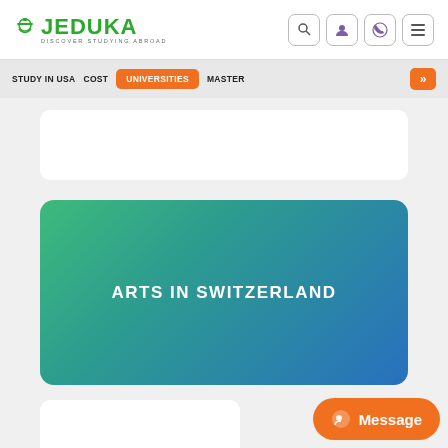[Figure (logo): Jeduka logo with graduation cap icon and tagline DISCOVER STUDYING ABROAD]
[Figure (screenshot): Header navigation icons: search, profile, whatsapp, menu]
STUDY IN USA  COST  UNIVERSITIES  MASTER
[Figure (illustration): White card placeholder at top]
[Figure (illustration): Gradient card with text ARTS IN SWITZERLAND, green to blue gradient background]
ARTS IN SWITZERLAND
[Figure (illustration): Partial white card at bottom]
[Figure (other): Orange Message button with chat bubble icon at bottom right]